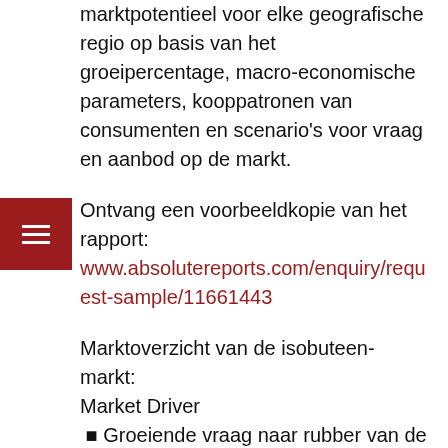marktpotentieel voor elke geografische regio op basis van het groeipercentage, macro-economische parameters, kooppatronen van consumenten en scenario's voor vraag en aanbod op de markt.
Ontvang een voorbeeldkopie van het rapport: www.absolutereports.com/enquiry/request-sample/11661443
Marktoverzicht van de isobuteen-markt:
Market Driver
⬛ Groeiende vraag naar rubber van de auto-industrie
⬛ Voor een volledige, gedetailleerde lijst, bekijk onze rapport